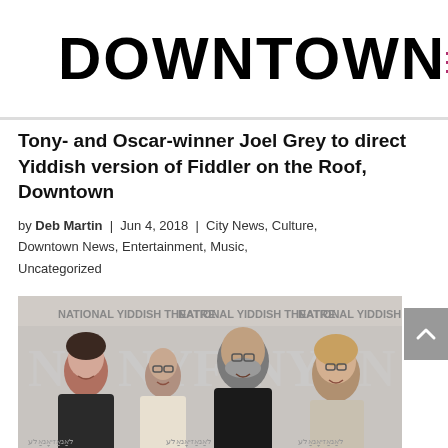DOWNTOWN
Tony- and Oscar-winner Joel Grey to direct Yiddish version of Fiddler on the Roof, Downtown
by Deb Martin | Jun 4, 2018 | City News, Culture, Downtown News, Entertainment, Music, Uncategorized
[Figure (photo): Group photo of four people standing in front of a National Yiddish Theatre backdrop with NYF logos]